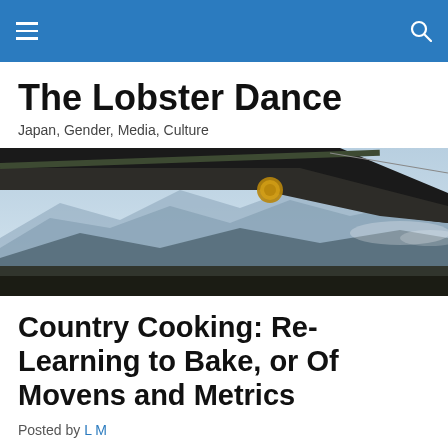The Lobster Dance — navigation bar
The Lobster Dance
Japan, Gender, Media, Culture
[Figure (photo): A close-up photo of a traditional Japanese temple roof eave with gold decorations, overlooking misty blue mountain ranges in the background.]
Country Cooking: Re-Learning to Bake, or Of Movens and Metrics
Posted by L M